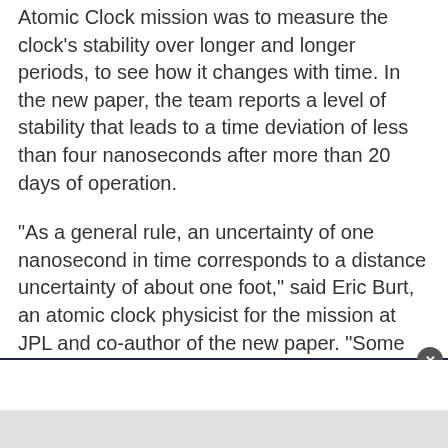Atomic Clock mission was to measure the clock's stability over longer and longer periods, to see how it changes with time. In the new paper, the team reports a level of stability that leads to a time deviation of less than four nanoseconds after more than 20 days of operation.
“As a general rule, an uncertainty of one nanosecond in time corresponds to a distance uncertainty of about one foot,” said Eric Burt, an atomic clock physicist for the mission at JPL and co-author of the new paper. “Some GPS clocks must be updated several times a day to maintain this level of stability, and that means GPS